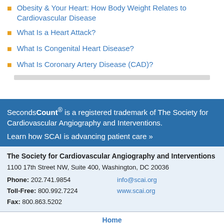Obesity & Your Heart: How Body Weight Relates to Cardiovascular Disease
What Is a Heart Attack?
What Is Congenital Heart Disease?
What Is Coronary Artery Disease (CAD)?
Seconds Count® is a registered trademark of The Society for Cardiovascular Angiography and Interventions. Learn how SCAI is advancing patient care »
The Society for Cardiovascular Angiography and Interventions
1100 17th Street NW, Suite 400, Washington, DC 20036
Phone: 202.741.9854   info@scai.org
Toll-Free: 800.992.7224   www.scai.org
Fax: 800.863.5202
Home